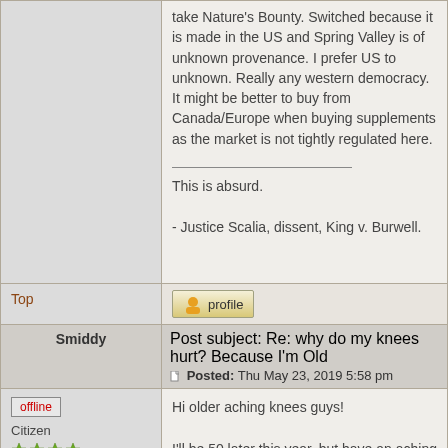take Nature's Bounty. Switched because it is made in the US and Spring Valley is of unknown provenance. I prefer US to unknown. Really any western democracy. It might be better to buy from Canada/Europe when buying supplements as the market is not tightly regulated here.
This is absurd.

- Justice Scalia, dissent, King v. Burwell.
Top
Post subject: Re: why do my knees hurt? Because I'm Old
Posted: Thu May 23, 2019 5:58 pm
Smiddy
offline
Citizen
Hi older aching knees guys!

I'll be 50 later this year, but have an aching left knee or rather DID have